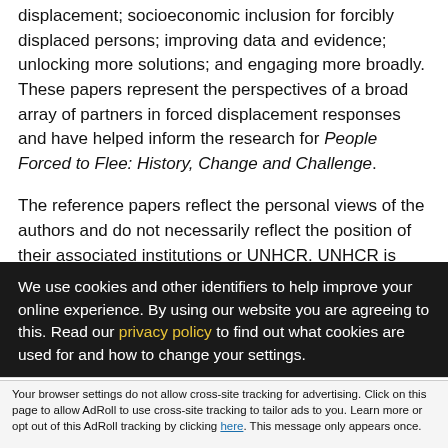displacement; socioeconomic inclusion for forcibly displaced persons; improving data and evidence; unlocking more solutions; and engaging more broadly. These papers represent the perspectives of a broad array of partners in forced displacement responses and have helped inform the research for People Forced to Flee: History, Change and Challenge.
The reference papers reflect the personal views of the authors and do not necessarily reflect the position of their associated institutions or UNHCR. UNHCR is greatly appreciative of these contributions and insights, which can be accessed via the book's dedicated microsite.
We use cookies and other identifiers to help improve your online experience. By using our website you are agreeing to this. Read our privacy policy to find out what cookies are used for and how to change your settings.
Accept and Close ✕
Your browser settings do not allow cross-site tracking for advertising. Click on this page to allow AdRoll to use cross-site tracking to tailor ads to you. Learn more or opt out of this AdRoll tracking by clicking here. This message only appears once.